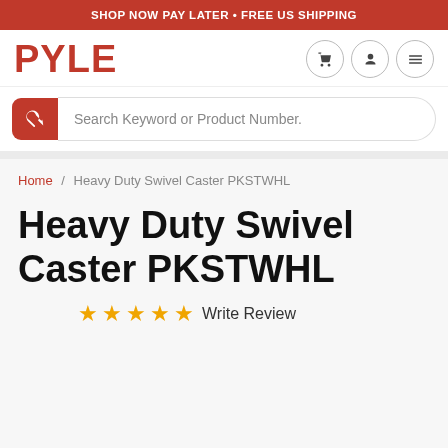SHOP NOW PAY LATER • FREE US SHIPPING
[Figure (logo): PYLE logo in red, bold text]
Search Keyword or Product Number.
Home / Heavy Duty Swivel Caster PKSTWHL
Heavy Duty Swivel Caster PKSTWHL
☆ ☆ ☆ ☆ ☆ Write Review